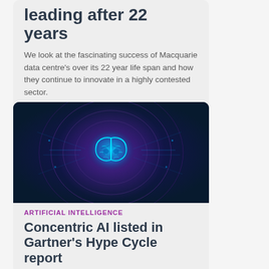leading after 22 years
We look at the fascinating success of Macquarie data centre's over its 22 year life span and how they continue to innovate in a highly contested sector.
[Figure (illustration): Dark navy background with a glowing blue brain icon surrounded by purple and blue circular tech rings and light streaks — an AI/technology themed illustration.]
ARTIFICIAL INTELLIGENCE
Concentric AI listed in Gartner's Hype Cycle report